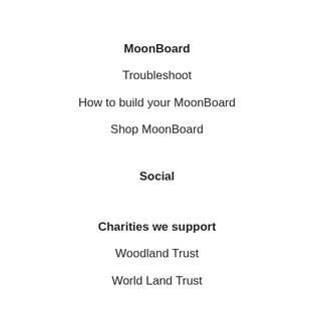MoonBoard
Troubleshoot
How to build your MoonBoard
Shop MoonBoard
Social
Charities we support
Woodland Trust
World Land Trust